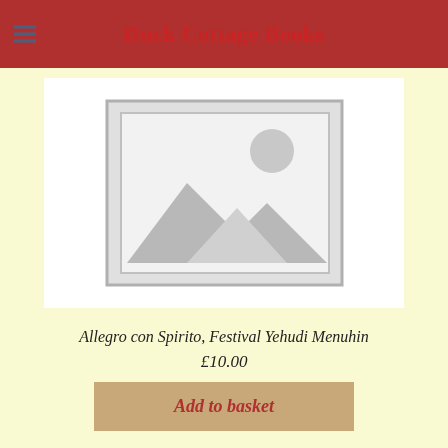Duck Cottage Books
[Figure (photo): Placeholder image showing mountains and sun icon, indicating no product image available]
Allegro con Spirito, Festival Yehudi Menuhin
£10.00
Add to basket